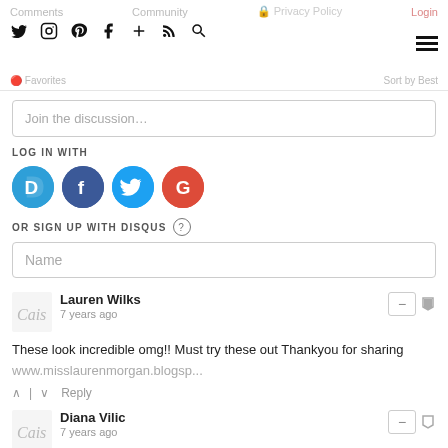Comments  Community  Privacy Policy  Login
Twitter Instagram Pinterest Facebook + RSS Search
Favorites  Sort by Best
Join the discussion…
LOG IN WITH
[Figure (logo): Social login icons: Disqus (D), Facebook (F), Twitter (T), Google (G)]
OR SIGN UP WITH DISQUS ?
Name
Lauren Wilks
7 years ago
These look incredible omg!! Must try these out Thankyou for sharing
www.misslaurenmorgan.blogsp...
↑ | ↓  Reply
Diana Vilic
7 years ago